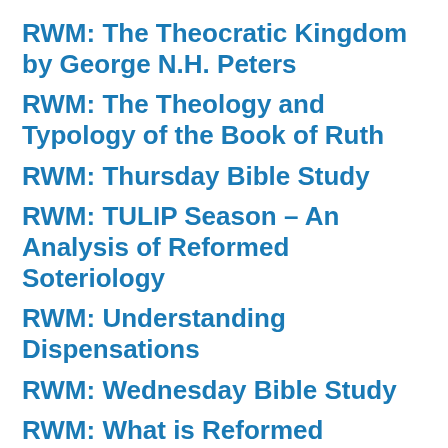RWM: The Theocratic Kingdom by George N.H. Peters
RWM: The Theology and Typology of the Book of Ruth
RWM: Thursday Bible Study
RWM: TULIP Season – An Analysis of Reformed Soteriology
RWM: Understanding Dispensations
RWM: Wednesday Bible Study
RWM: What is Reformed Theology?